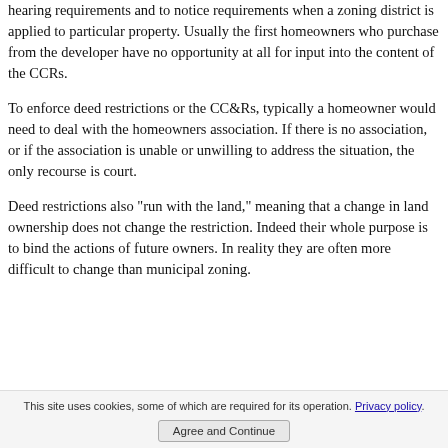hearing requirements and to notice requirements when a zoning district is applied to particular property. Usually the first homeowners who purchase from the developer have no opportunity at all for input into the content of the CCRs.
To enforce deed restrictions or the CC&Rs, typically a homeowner would need to deal with the homeowners association. If there is no association, or if the association is unable or unwilling to address the situation, the only recourse is court.
Deed restrictions also "run with the land," meaning that a change in land ownership does not change the restriction. Indeed their whole purpose is to bind the actions of future owners. In reality they are often more difficult to change than municipal zoning.
This site uses cookies, some of which are required for its operation. Privacy policy. Agree and Continue